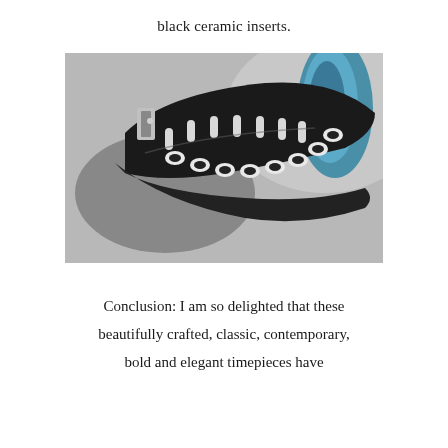black ceramic inserts.
[Figure (photo): Close-up photograph of a watch bracelet with alternating black ceramic and polished silver steel links, showing the curved underside of the bracelet with a blue watch face partially visible in the upper right corner. The background is grey.]
Conclusion: I am so delighted that these beautifully crafted, classic, contemporary, bold and elegant timepieces have